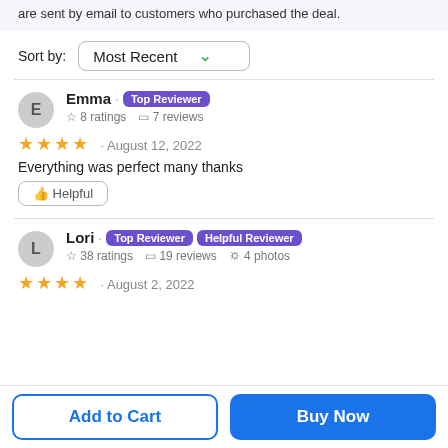are sent by email to customers who purchased the deal.
Sort by: Most Recent
Emma · Top Reviewer
☆ 8 ratings  ◻ 7 reviews
★★★★ · August 12, 2022
Everything was perfect many thanks
👍 Helpful
Lori · Top Reviewer  Helpful Reviewer
☆ 38 ratings  ◻ 19 reviews  ⊙ 4 photos
★★★★ · August 2, 2022
Add to Cart
Buy Now